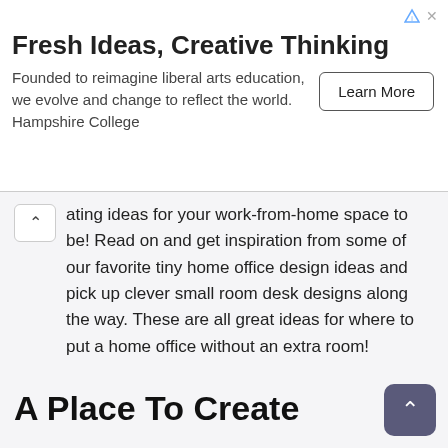Fresh Ideas, Creative Thinking
Founded to reimagine liberal arts education, we evolve and change to reflect the world. Hampshire College
ating ideas for your work-from-home space to be! Read on and get inspiration from some of our favorite tiny home office design ideas and pick up clever small room desk designs along the way. These are all great ideas for where to put a home office without an extra room!
A Place To Create